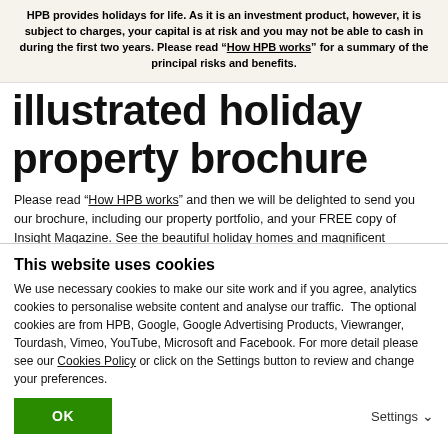HPB provides holidays for life. As it is an investment product, however, it is subject to charges, your capital is at risk and you may not be able to cash in during the first two years. Please read "How HPB works" for a summary of the principal risks and benefits.
illustrated holiday property brochure
Please read "How HPB works" and then we will be delighted to send you our brochure, including our property portfolio, and your FREE copy of Insight Magazine. See the beautiful holiday homes and magnificent locations where you can spend your holidays as a Bondholder and learn how impressed Bondholders have been by our handling of the problems caused by
This website uses cookies
We use necessary cookies to make our site work and if you agree, analytics cookies to personalise website content and analyse our traffic.  The optional cookies are from HPB, Google, Google Advertising Products, Viewranger, Tourdash, Vimeo, YouTube, Microsoft and Facebook. For more detail please see our Cookies Policy or click on the Settings button to review and change your preferences.